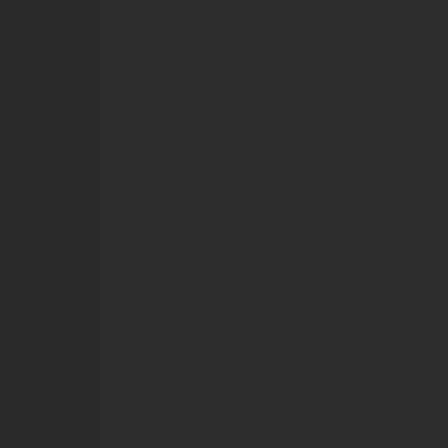the auth crea the auth of that auth But circ logi mak you look like an idiot And sinc you bee usin this as this